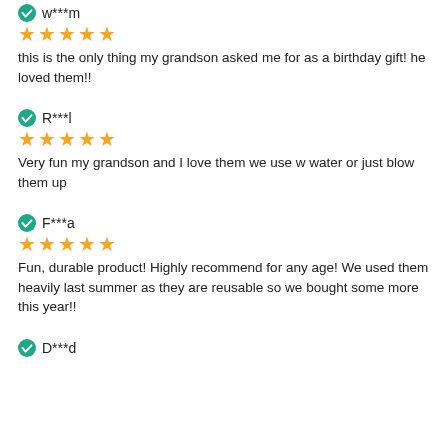w***m
★★★★★
this is the only thing my grandson asked me for as a birthday gift! he loved them!!
R***l
★★★★★
Very fun my grandson and I love them we use w water or just blow them up
F***a
★★★★★
Fun, durable product! Highly recommend for any age! We used them heavily last summer as they are reusable so we bought some more this year!!
D***d